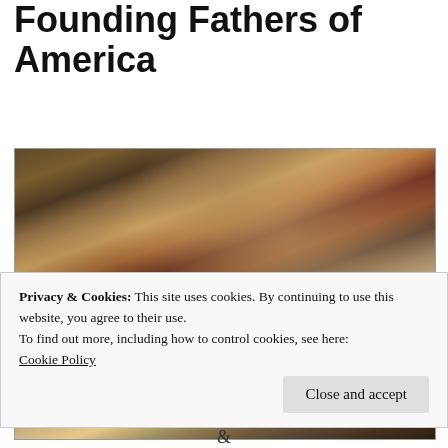Founding Fathers of America
[Figure (photo): Historical painting depicting the Constitutional Convention, showing the Founding Fathers of America gathered in a formal assembly room. A figure in black (George Washington) stands elevated at the front, while delegates in 18th-century attire surround tables and stand throughout the room.]
Privacy & Cookies: This site uses cookies. By continuing to use this website, you agree to their use.
To find out more, including how to control cookies, see here: Cookie Policy
Close and accept
&